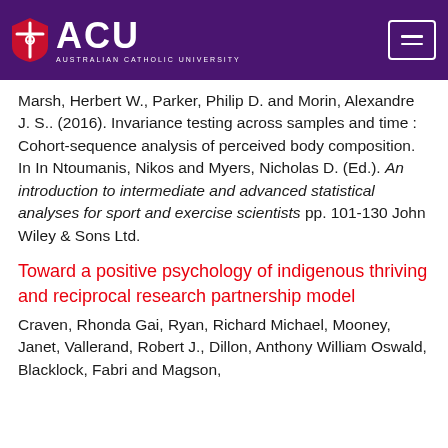ACU - Australian Catholic University
Marsh, Herbert W., Parker, Philip D. and Morin, Alexandre J. S.. (2016). Invariance testing across samples and time : Cohort-sequence analysis of perceived body composition. In In Ntoumanis, Nikos and Myers, Nicholas D. (Ed.). An introduction to intermediate and advanced statistical analyses for sport and exercise scientists pp. 101-130 John Wiley & Sons Ltd.
Toward a positive psychology of indigenous thriving and reciprocal research partnership model
Craven, Rhonda Gai, Ryan, Richard Michael, Mooney, Janet, Vallerand, Robert J., Dillon, Anthony William Oswald, Blacklock, Fabri and Magson,